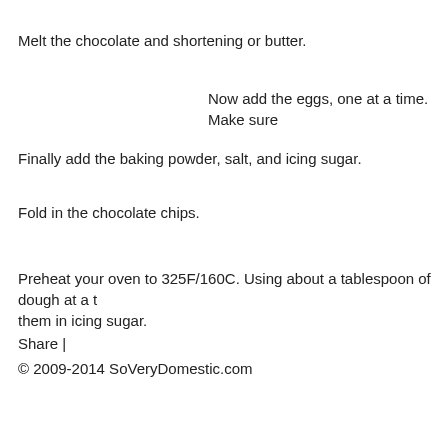Melt the chocolate and shortening or butter.
Now add the eggs, one at a time. Make sure
Finally add the baking powder, salt, and icing sugar.
Fold in the chocolate chips.
Preheat your oven to 325F/160C. Using about a tablespoon of dough at a ti them in icing sugar.
Share |
© 2009-2014 SoVeryDomestic.com